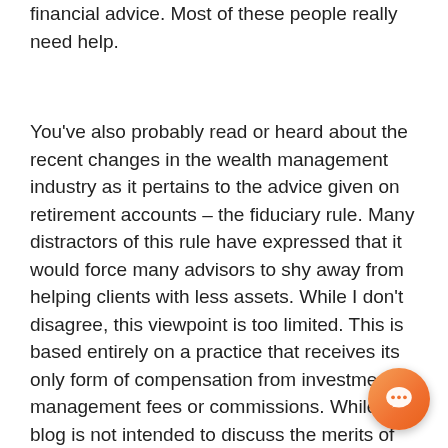financial advice. Most of these people really need help.
You've also probably read or heard about the recent changes in the wealth management industry as it pertains to the advice given on retirement accounts – the fiduciary rule. Many distractors of this rule have expressed that it would force many advisors to shy away from helping clients with less assets. While I don't disagree, this viewpoint is too limited. This is based entirely on a practice that receives its only form of compensation from investment management fees or commissions. While this blog is not intended to discuss the merits of the fiduciary rule, I think important to note that these changes do affect